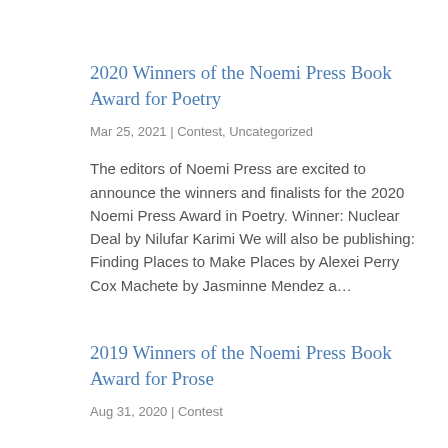2020 Winners of the Noemi Press Book Award for Poetry
Mar 25, 2021 | Contest, Uncategorized
The editors of Noemi Press are excited to announce the winners and finalists for the 2020 Noemi Press Award in Poetry. Winner: Nuclear Deal by Nilufar Karimi We will also be publishing: Finding Places to Make Places by Alexei Perry Cox Machete by Jasminne Mendez a…
2019 Winners of the Noemi Press Book Award for Prose
Aug 31, 2020 | Contest